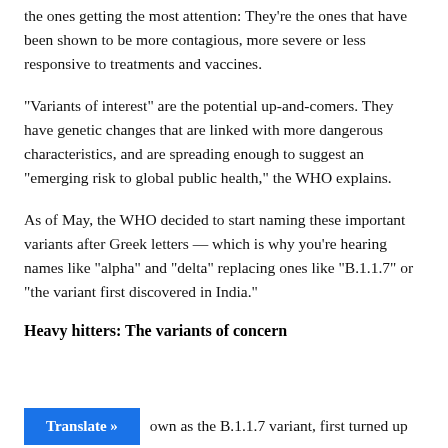the ones getting the most attention: They're the ones that have been shown to be more contagious, more severe or less responsive to treatments and vaccines.
“Variants of interest” are the potential up-and-comers. They have genetic changes that are linked with more dangerous characteristics, and are spreading enough to suggest an “emerging risk to global public health,” the WHO explains.
As of May, the WHO decided to start naming these important variants after Greek letters — which is why you’re hearing names like “alpha” and “delta” replacing ones like “B.1.1.7” or “the variant first discovered in India.”
Heavy hitters: The variants of concern
own as the B.1.1.7 variant, first turned up